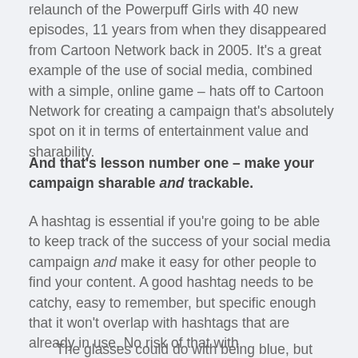relaunch of the Powerpuff Girls with 40 new episodes, 11 years from when they disappeared from Cartoon Network back in 2005. It's a great example of the use of social media, combined with a simple, online game – hats off to Cartoon Network for creating a campaign that's absolutely spot on it in terms of entertainment value and sharability.
And that's lesson number one – make your campaign sharable and trackable.
A hashtag is essential if you're going to be able to keep track of the success of your social media campaign and make it easy for other people to find your content. A good hashtag needs to be catchy, easy to remember, but specific enough that it won't overlap with hashtags that are already in use. No risk of that with #PowerpuffYourself.
The glasses could do with being blue, but this